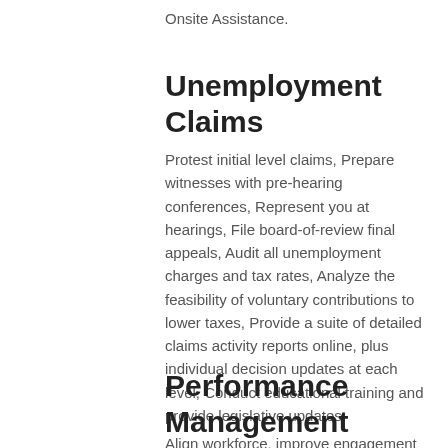Onsite Assistance.
Unemployment Claims
Protest initial level claims, Prepare witnesses with pre-hearing conferences, Represent you at hearings, File board-of-review final appeals, Audit all unemployment charges and tax rates, Analyze the feasibility of voluntary contributions to lower taxes, Provide a suite of detailed claims activity reports online, plus individual decision updates at each level, Conduct educational training and provide legislative updates.
Performance Management
Align workforce, improve engagement and